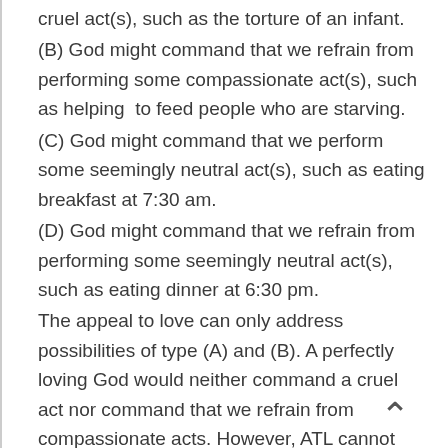cruel act(s), such as the torture of an infant.
(B) God might command that we refrain from performing some compassionate act(s), such as helping  to feed people who are starving.
(C) God might command that we perform some seemingly neutral act(s), such as eating breakfast at 7:30 am.
(D) God might command that we refrain from performing some seemingly neutral act(s), such as eating dinner at 6:30 pm.
The appeal to love can only address possibilities of type (A) and (B). A perfectly loving God would neither command a cruel act nor command that we refrain from compassionate acts. However, ATL cannot address possibilities of type (C) and (D). That